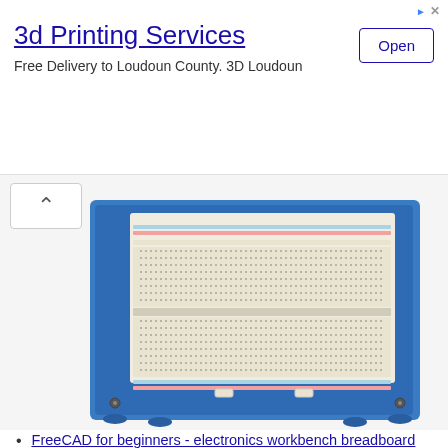[Figure (screenshot): Advertisement banner for '3d Printing Services' with title, subtitle 'Free Delivery to Loudoun County. 3D Loudoun', and an 'Open' button. Small ad icon and X in top right corner.]
[Figure (photo): Photo of a blue 3D-printed breadboard holder with a white electronics breadboard mounted on top. The holder has small rubber feet and mounting holes.]
FreeCAD for beginners - electronics workbench breadboard holder
FreeCAD - using the part workbench - Fan extension arms
STS-Pi Raspberry Pi robot - FreeCAD add-ons for 3D printing
Designing model railway traffic / signal lights using FreeCAD